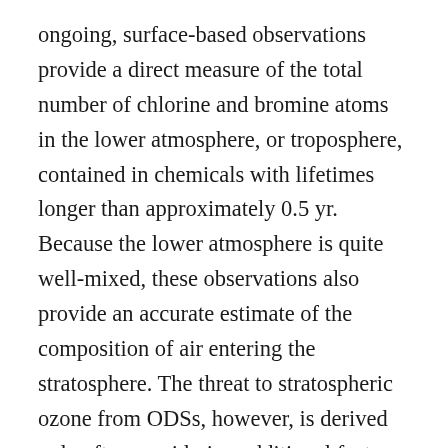ongoing, surface-based observations provide a direct measure of the total number of chlorine and bromine atoms in the lower atmosphere, or troposphere, contained in chemicals with lifetimes longer than approximately 0.5 yr. Because the lower atmosphere is quite well-mixed, these observations also provide an accurate estimate of the composition of air entering the stratosphere. The threat to stratospheric ozone from ODSs, however, is derived only after considering additional factors: the time it takes for air to be transported from the troposphere to different regions of the stratosphere, air mixing processes during that transport, and the rate at which ODSs